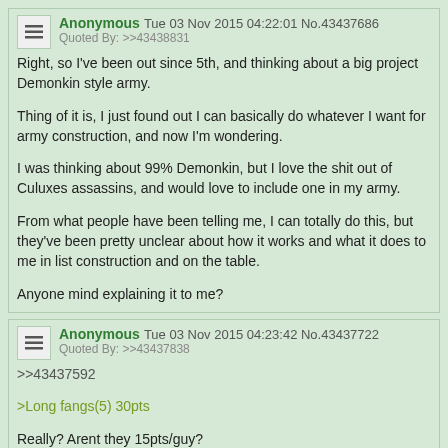Anonymous Tue 03 Nov 2015 04:22:01 No.43437686 Quoted By: >>43438831
Right, so I've been out since 5th, and thinking about a big project Demonkin style army.

Thing of it is, I just found out I can basically do whatever I want for army construction, and now I'm wondering.

I was thinking about 99% Demonkin, but I love the shit out of Culuxes assassins, and would love to include one in my army.

From what people have been telling me, I can totally do this, but they've been pretty unclear about how it works and what it does to me in list construction and on the table.

Anyone mind explaining it to me?
Anonymous Tue 03 Nov 2015 04:23:42 No.43437722 Quoted By: >>43437838
>>43437592
>Long fangs(5) 30pts
Really? Arent they 15pts/guy?
Anonymous Tue 03 Nov 2015 04:26:18 No.43437766